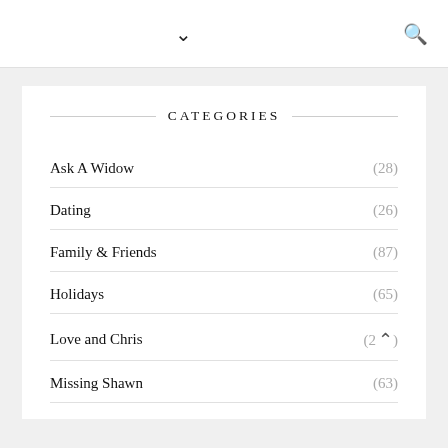▾  🔍
CATEGORIES
Ask A Widow (28)
Dating (26)
Family & Friends (87)
Holidays (65)
Love and Chris (2^)
Missing Shawn (63)